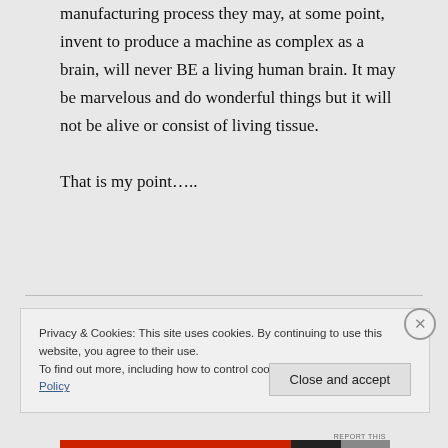manufacturing process they may, at some point, invent to produce a machine as complex as a brain, will never BE a living human brain. It may be marvelous and do wonderful things but it will not be alive or consist of living tissue.

That is my point…..
Privacy & Cookies: This site uses cookies. By continuing to use this website, you agree to their use.
To find out more, including how to control cookies, see here: Cookie Policy